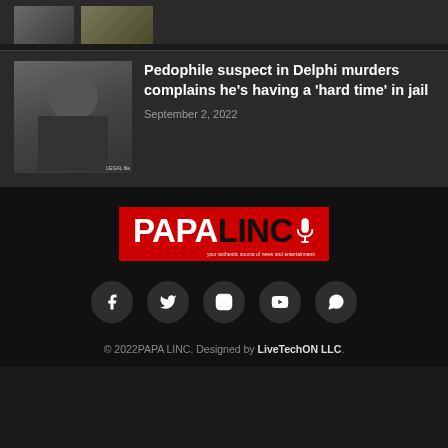[Figure (photo): Two small thumbnail images side by side at top of page]
[Figure (photo): Mugshot-style photo of a heavyset man with beard wearing dark shirt, with small text label at bottom]
Pedophile suspect in Delphi murders complains he’s having a ‘hard time’ in jail
September 2, 2022
[Figure (logo): PAPA LINC logo in red box with white and black text and microphone icon, tagline: your authentic source of news and entertainment]
[Figure (infographic): Five social media icon circles: Facebook, Twitter, Instagram, YouTube, WhatsApp]
© 2022PAPA LINC. Designed by LiveTechON LLC.